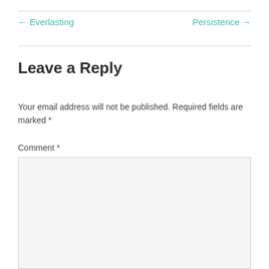← Everlasting
Persistence →
Leave a Reply
Your email address will not be published. Required fields are marked *
Comment *